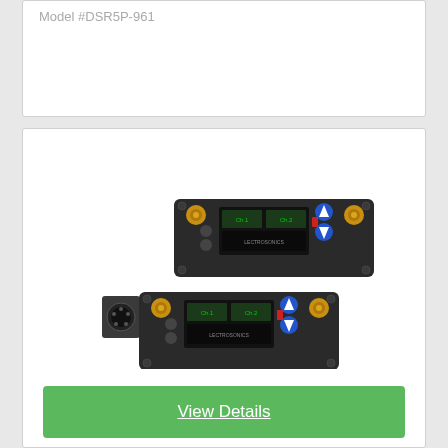Model #DSR5P-961
[Figure (photo): Two Lectrosonics DSR5P digital slot receivers stacked, showing front panels with OLED displays, gold SMA antenna connectors, and blue/red navigation buttons. The bottom unit has a 5-pin audio output connector visible on the left side.]
View Details
Lectrosonics DSR5P Two-Channel Digital Slot Receiver with 5-Pin Audio-Output Connector (A1B1: 470 to 614